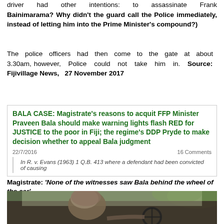driver had other intentions: to assassinate Frank Bainimarama? Why didn't the guard call the Police immediately, instead of letting him into the Prime Minister's compound?)
The police officers had then come to the gate at about 3.30am, however, Police could not take him in. Source: Fijivillage News, 27 November 2017
BALA CASE: Magistrate's reasons to acquit FFP Minister Praveen Bala should make warning lights flash RED for JUSTICE to the poor in Fiji; the regime's DDP Pryde to make decision whether to appeal Bala judgment
22/7/2016   16 Comments
In R. v. Evans (1963) 1 Q.B. 413 where a defendant had been convicted of causing
Magistrate: 'None of the witnesses saw Bala behind the wheel of the car'
[Figure (photo): Photograph showing a view through a car windshield, with a person visible in the driver's seat and green foliage in the background]